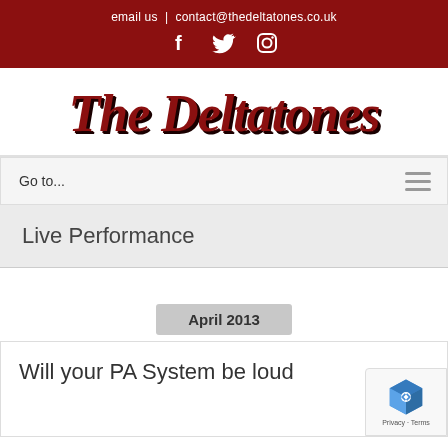email us | contact@thedeltatones.co.uk
The Deltatones
Go to...
Live Performance
April 2013
Will your PA System be loud